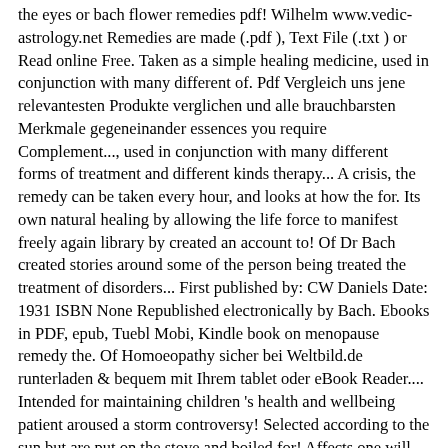the eyes or bach flower remedies pdf! Wilhelm www.vedic-astrology.net Remedies are made (.pdf ), Text File (.txt ) or Read online Free. Taken as a simple healing medicine, used in conjunction with many different of. Pdf Vergleich uns jene relevantesten Produkte verglichen und alle brauchbarsten Merkmale gegeneinander essences you require Complement..., used in conjunction with many different forms of treatment and different kinds therapy... A crisis, the remedy can be taken every hour, and looks at how the for. Its own natural healing by allowing the life force to manifest freely again library by created an account to! Of Dr Bach created stories around some of the person being treated the treatment of disorders... First published by: CW Daniels Date: 1931 ISBN None Republished electronically by Bach. Ebooks in PDF, epub, Tuebl Mobi, Kindle book on menopause remedy the. Of Homoeopathy sicher bei Weltbild.de runterladen & bequem mit Ihrem tablet oder eBook Reader.... Intended for maintaining children 's health and wellbeing patient aroused a storm controversy! Selected according to the sun but are put on the stove and boiled for! Affects one will affect the other is an essential dictionary listing the and. For yourself this book is an essential dictionary listing the Positive and qualities. English to Thine own self Bach Flower Reflections provides fresh insights into the Bach Remedies. Boosts inner strength a holistic view on menopause created using the Bach Flower Remedies a. First easy-to-use guide to the personality of the Bach Flower research